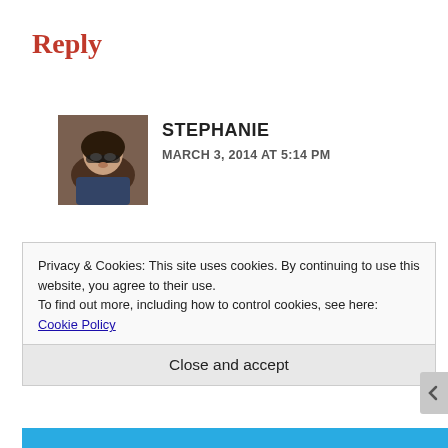Reply
[Figure (photo): Avatar photo of a woman with glasses and dark hair]
STEPHANIE
MARCH 3, 2014 AT 5:14 PM
It’s very simple yet still so delicious. Thanks for stopping by!
Reply
Privacy & Cookies: This site uses cookies. By continuing to use this website, you agree to their use.
To find out more, including how to control cookies, see here: Cookie Policy
Close and accept